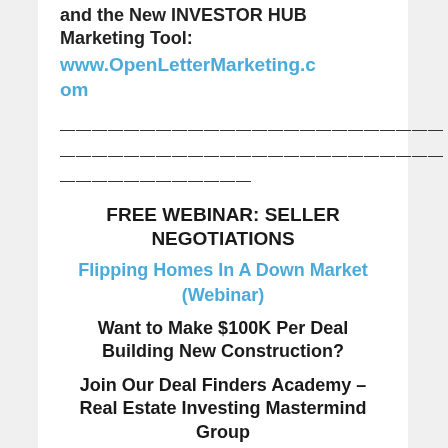and the New INVESTOR HUB Marketing Tool:
www.OpenLetterMarketing.com
————————————————————————————————————————————————————————————————————————————
FREE WEBINAR: SELLER NEGOTIATIONS
Flipping Homes In A Down Market (Webinar)
Want to Make $100K Per Deal Building New Construction?
Join Our Deal Finders Academy – Real Estate Investing Mastermind Group